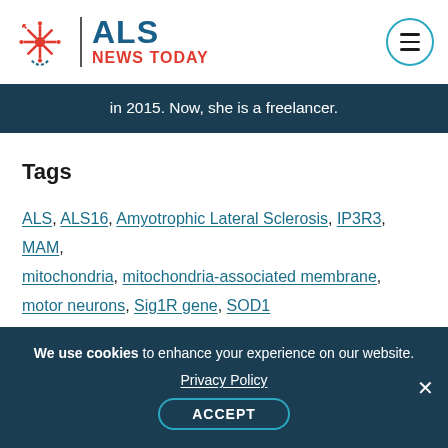ALS NEWS TODAY
in 2015. Now, she is a freelancer.
Tags
ALS, ALS16, Amyotrophic Lateral Sclerosis, IP3R3, MAM, mitochondria, mitochondria-associated membrane, motor neurons, Sig1R gene, SOD1
We use cookies to enhance your experience on our website. Privacy Policy ACCEPT